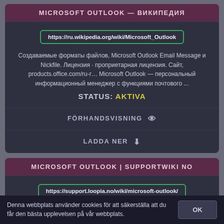MICROSOFT OUTLOOK — ВИКИПЕДИЯ
https://ru.wikipedia.org/wiki/Microsoft_Outlook
Создаваемые форматы файлов, Microsoft Outlook Email Message и Nickfile. Лицензия · проприетарная лицензия. Сайт, products.office.com/ru-r… Microsoft Outlook — персональный информационный менеджер с функциями почтового ...
STATUS: AKTIVA
FÖRHANDSVISNING 👁
LADDA NER ⬇
MICROSOFT OUTLOOK | SUPPORTWIKI NO
https://support.loopia.no/wiki/microsoft-outlook/
Denna webbplats använder cookies för att säkerställa att du får den bästa upplevelsen på vår webbplats.